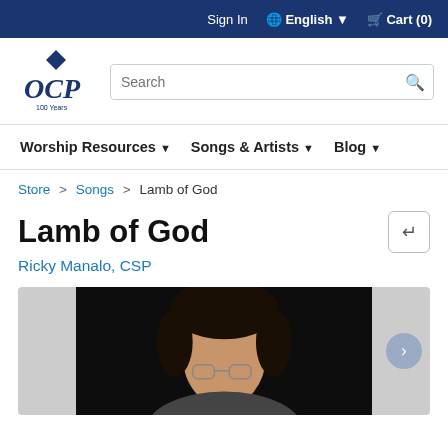Sign In  English  Cart (0)
[Figure (logo): OCP 100 Years logo in dark navy blue]
Search
Worship Resources  Songs & Artists  Blog
Store > Songs > Lamb of God
Lamb of God
Ricky Manalo, CSP
[Figure (photo): Photo of Ricky Manalo, CSP against a dark/black background, showing a person with dark hair]